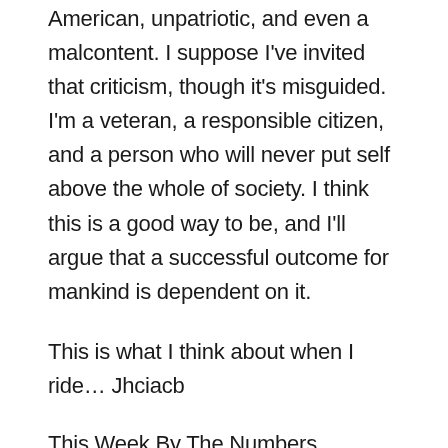American, unpatriotic, and even a malcontent. I suppose I've invited that criticism, though it's misguided. I'm a veteran, a responsible citizen, and a person who will never put self above the whole of society. I think this is a good way to be, and I'll argue that a successful outcome for mankind is dependent on it.
This is what I think about when I ride… Jhciacb
This Week By The Numbers…
Bikes Ridden: 7